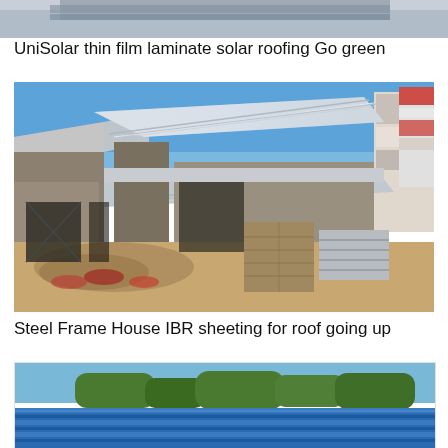[Figure (photo): Top portion of a photo showing UniSolar thin film laminate solar roofing — partial view of rooftop installation]
UniSolar thin film laminate solar roofing Go green
[Figure (photo): Construction site photo showing a steel frame house under construction with IBR (Inverted Box Rib) metal sheeting being installed on the roof. The building has concrete block walls, exposed steel framing, shiny corrugated metal roof sheets, and construction debris including rubble in the foreground. A billboard is visible in the background on the right side.]
Steel Frame House IBR sheeting for roof going up
[Figure (photo): Partial view of a building with a blue corrugated metal roof and trees visible in the background — bottom portion cut off]